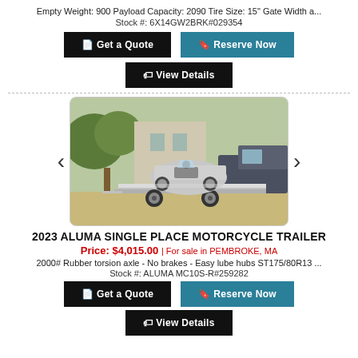Empty Weight: 900 Payload Capacity: 2090 Tire Size: 15" Gate Width a...
Stock #: 6X14GW2BRK#029354
Get a Quote
Reserve Now
View Details
[Figure (photo): Motorcycle trailer (single place aluminum) loaded with a motorcycle, parked outdoors with a truck in the background.]
2023 ALUMA SINGLE PLACE MOTORCYCLE TRAILER
Price: $4,015.00 | For sale in PEMBROKE, MA
2000# Rubber torsion axle - No brakes - Easy lube hubs ST175/80R13 ...
Stock #: ALUMA MC10S-R#259282
Get a Quote
Reserve Now